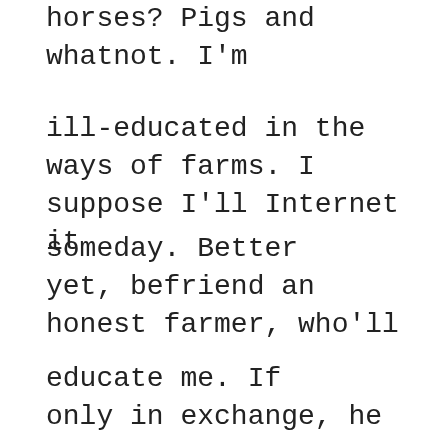horses? Pigs and whatnot. I'm
ill-educated in the ways of farms. I suppose I'll Internet it
someday. Better yet, befriend an honest farmer, who'll
educate me. If only in exchange, he or she will let me
help them bale the hay. Wrap and bind it. Arrange it
on the cutting board of stubbled fields. Then,